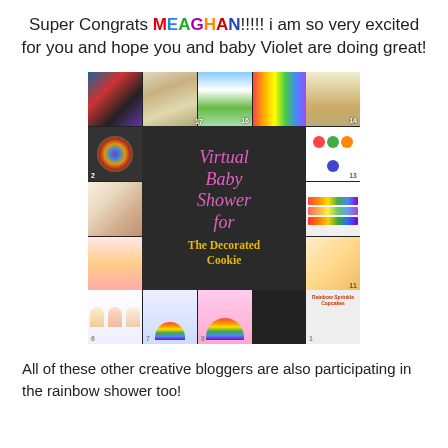Super Congrats MEAGHAN!!!!! i am so very excited for you and hope you and baby Violet are doing great!
[Figure (photo): Collage image for Virtual Baby Shower for The Decorated Cookie, featuring rainbow-themed treats and baked goods arranged in a grid around a central dark panel with pink and gold text.]
All of these other creative bloggers are also participating in the rainbow shower too!